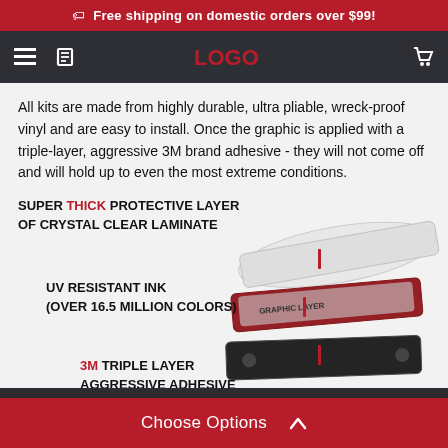🏷 Free shipping on domestic orders over $99!
[Figure (screenshot): Navigation bar with menu icon, search icon, and logo on dark background]
All kits are made from highly durable, ultra pliable, wreck-proof vinyl and are easy to install. Once the graphic is applied with a triple-layer, aggressive 3M brand adhesive - they will not come off and will hold up to even the most extreme conditions.
SUPER THICK PROTECTIVE LAYER OF CRYSTAL CLEAR LAMINATE
UV RESISTANT INK (OVER 16.5 MILLION COLORS)
3M TRIPLE LAYER AGGRESSIVE ADHESIVE
[Figure (illustration): Exploded view of layered vinyl kit product showing crystal clear laminate, UV resistant ink layer, and 3M adhesive base layer]
Choose Options ^